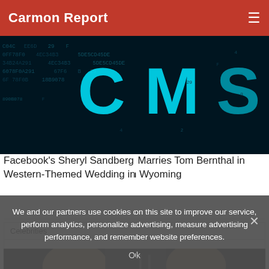Carmon Report
[Figure (photo): Dark digital/cyber background with glowing teal/cyan text characters and hex codes, large stylized letters visible]
Facebook's Sheryl Sandberg Marries Tom Bernthal in Western-Themed Wedding in Wyoming
Celebrities
[Figure (photo): Partial view of two people's heads against a dark background]
We and our partners use cookies on this site to improve our service, perform analytics, personalize advertising, measure advertising performance, and remember website preferences.